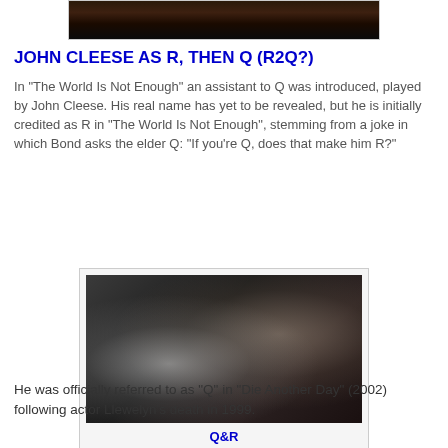[Figure (photo): Top cropped photo showing a dark scene, partially visible]
JOHN CLEESE AS R, THEN Q (R2Q?)
In "The World Is Not Enough" an assistant to Q was introduced, played by John Cleese. His real name has yet to be revealed, but he is initially credited as R in "The World Is Not Enough", stemming from a joke in which Bond asks the elder Q: "If you're Q, does that make him R?"
[Figure (photo): Q&R - Their only shot together in the movie. (Sorry for the quality.....)]
Q&R
Their only shot together in the movie.
(Sorry for the quality.....)
He was officially referred to as "Q" in "Die Another Day" (2002) following actor Llewelyn's death in 1999.